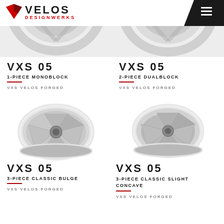VELOS DESIGNWERKS
[Figure (photo): Top cropped view of two silver VXS 05 wheels, left and right]
VXS 05
1-PIECE MONOBLOCK
VXS VELOS FORGED
VXS 05
2-PIECE DUALBLOCK
VXS VELOS FORGED
[Figure (photo): Silver VXS 05 3-piece classic bulge wheel, 5-spoke, polished lip, angled view]
VXS 05
3-PIECE CLASSIC BULGE
VXS VELOS FORGED
[Figure (photo): Silver VXS 05 3-piece classic slight concave wheel, 5-spoke, polished lip, angled view]
VXS 05
3-PIECE CLASSIC SLIGHT CONCAVE
VXS VELOS FORGED